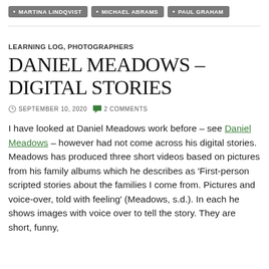MARTINA LINDQVIST  MICHAEL ABRAMS  PAUL GRAHAM
LEARNING LOG, PHOTOGRAPHERS
DANIEL MEADOWS – DIGITAL STORIES
SEPTEMBER 10, 2020  2 COMMENTS
I have looked at Daniel Meadows work before – see Daniel Meadows – however had not come across his digital stories. Meadows has produced three short videos based on pictures from his family albums which he describes as 'First-person scripted stories about the families I come from. Pictures and voice-over, told with feeling' (Meadows, s.d.). In each he shows images with voice over to tell the story. They are short, funny,